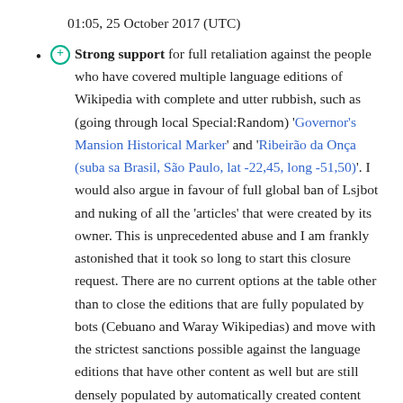01:05, 25 October 2017 (UTC)
⊕ Strong support for full retaliation against the people who have covered multiple language editions of Wikipedia with complete and utter rubbish, such as (going through local Special:Random) 'Governor's Mansion Historical Marker' and 'Ribeirão da Onça (suba sa Brasil, São Paulo, lat -22,45, long -51,50)'. I would also argue in favour of full global ban of Lsjbot and nuking of all the 'articles' that were created by its owner. This is unprecedented abuse and I am frankly astonished that it took so long to start this closure request. There are no current options at the table other than to close the editions that are fully populated by bots (Cebuano and Waray Wikipedias) and move with the strictest sanctions possible against the language editions that have other content as well but are still densely populated by automatically created content